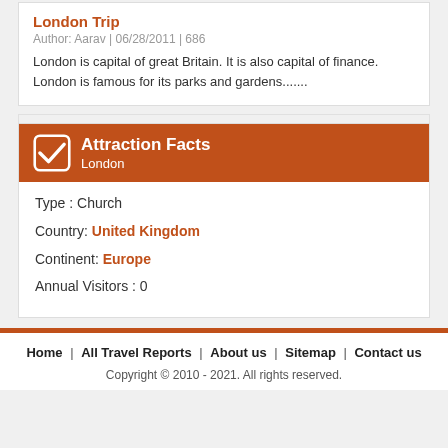London Trip
Author: Aarav | 06/28/2011 | 686
London is capital of great Britain. It is also capital of finance. London is famous for its parks and gardens.......
Attraction Facts
London
Type : Church
Country: United Kingdom
Continent: Europe
Annual Visitors : 0
Home | All Travel Reports | About us | Sitemap | Contact us
Copyright © 2010 - 2021. All rights reserved.